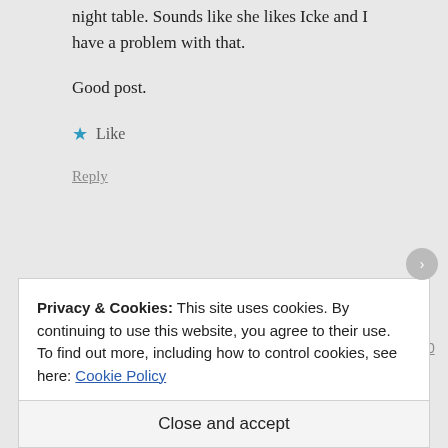night table. Sounds like she likes Icke and I have a problem with that.
Good post.
★ Like
Reply
James Pyles says:
December 22, 2018 at 7:20 pm
Privacy & Cookies: This site uses cookies. By continuing to use this website, you agree to their use.
To find out more, including how to control cookies, see here: Cookie Policy
Close and accept